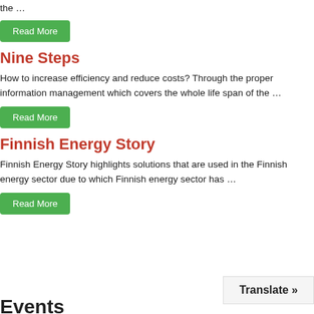the …
Read More
Nine Steps
How to increase efficiency and reduce costs? Through the proper information management which covers the whole life span of the …
Read More
Finnish Energy Story
Finnish Energy Story highlights solutions that are used in the Finnish energy sector due to which Finnish energy sector has …
Read More
Translate »
Events